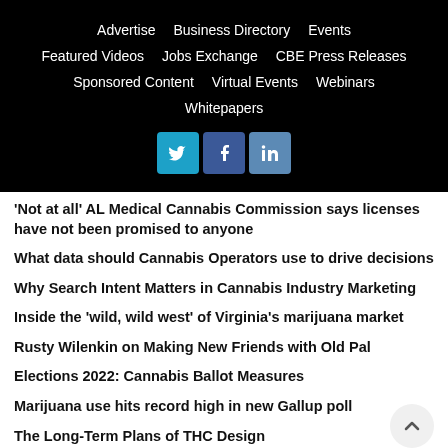Advertise   Business Directory   Events   Featured Videos   Jobs Exchange   CBE Press Releases   Sponsored Content   Virtual Events   Webinars   Whitepapers
'Not at all' AL Medical Cannabis Commission says licenses have not been promised to anyone
What data should Cannabis Operators use to drive decisions
Why Search Intent Matters in Cannabis Industry Marketing
Inside the 'wild, wild west' of Virginia's marijuana market
Rusty Wilenkin on Making New Friends with Old Pal
Elections 2022: Cannabis Ballot Measures
Marijuana use hits record high in new Gallup poll
The Long-Term Plans of THC Design
The Content Aggregator: Seed Talent and the Growth of